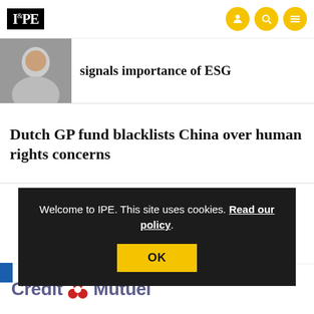IPE
signals importance of ESG
Dutch GP fund blacklists China over human rights concerns
Welcome to IPE. This site uses cookies. Read our policy.
[Figure (logo): Crédit Mutuel logo with red trefoil emblem and blue-grey text]